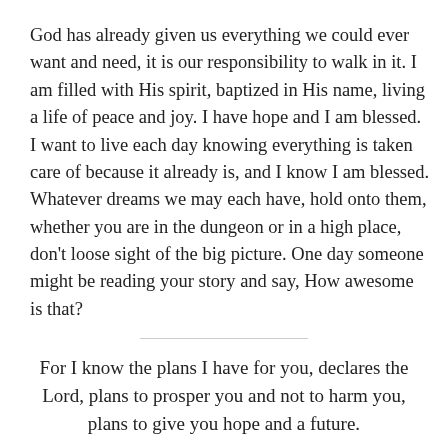God has already given us everything we could ever want and need, it is our responsibility to walk in it. I am filled with His spirit, baptized in His name, living a life of peace and joy. I have hope and I am blessed. I want to live each day knowing everything is taken care of because it already is, and I know I am blessed. Whatever dreams we may each have, hold onto them, whether you are in the dungeon or in a high place, don't loose sight of the big picture. One day someone might be reading your story and say, How awesome is that?
For I know the plans I have for you, declares the Lord, plans to prosper you and not to harm you, plans to give you hope and a future.